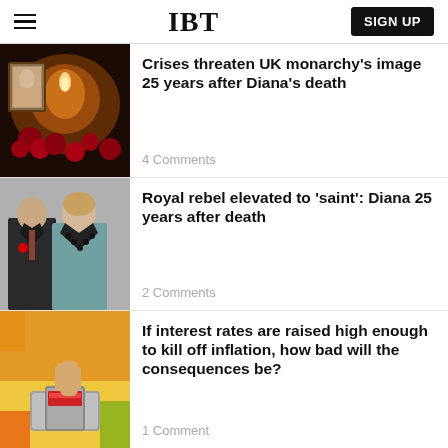IBT
Crises threaten UK monarchy's image 25 years after Diana's death
4 Comments
Royal rebel elevated to 'saint': Diana 25 years after death
2 Comments
If interest rates are raised high enough to kill off inflation, how bad will the consequences be?
1 Comment